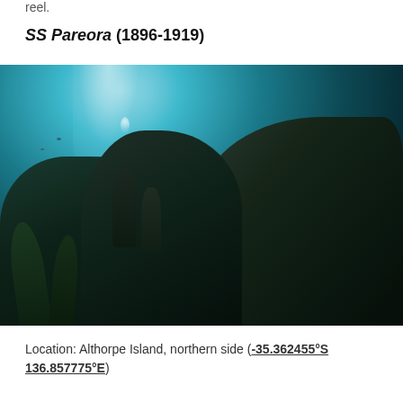reel.
SS Pareora (1896-1919)
[Figure (photo): Underwater photograph showing the wreck of the SS Pareora. The image depicts dark rocky formations and kelp-covered structures submerged in blue-green water, with light filtering down from the surface above. A diver or bubbles are visible in the mid-water.]
Location: Althorpe Island, northern side (-35.362455°S 136.857775°E)